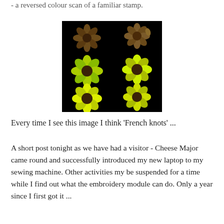- a reversed colour scan of a familiar stamp.
[Figure (photo): A reversed colour scan of a familiar stamp showing six flower-like shapes on a black background. The flowers have neon yellow-green petals and dark brown centres, arranged in a 2x3 grid.]
Every time I see this image I think 'French knots' ...
A short post tonight as we have had a visitor - Cheese Major came round and successfully introduced my new laptop to my sewing machine. Other activities my be suspended for a time while I find out what the embroidery module can do. Only a year since I first got it ...